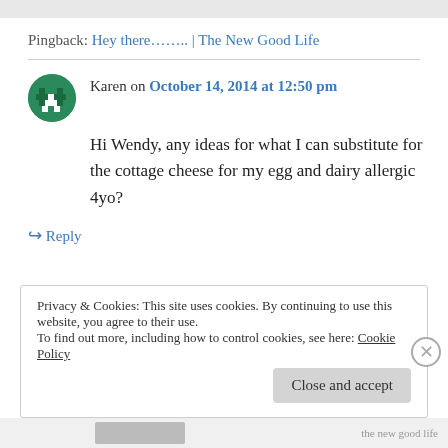Pingback: Hey there…….. | The New Good Life
Karen on October 14, 2014 at 12:50 pm
Hi Wendy, any ideas for what I can substitute for the cottage cheese for my egg and dairy allergic 4yo?
↪ Reply
Privacy & Cookies: This site uses cookies. By continuing to use this website, you agree to their use. To find out more, including how to control cookies, see here: Cookie Policy